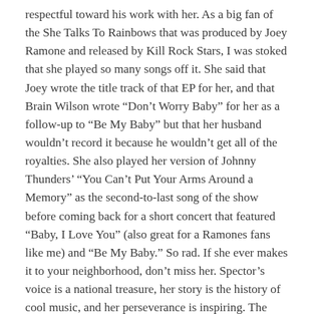respectful toward his work with her. As a big fan of the She Talks To Rainbows that was produced by Joey Ramone and released by Kill Rock Stars, I was stoked that she played so many songs off it. She said that Joey wrote the title track of that EP for her, and that Brain Wilson wrote “Don’t Worry Baby” for her as a follow-up to “Be My Baby” but that her husband wouldn’t record it because he wouldn’t get all of the royalties. She also played her version of Johnny Thunders’ “You Can’t Put Your Arms Around a Memory” as the second-to-last song of the show before coming back for a short concert that featured “Baby, I Love You” (also great for a Ramones fans like me) and “Be My Baby.” So rad. If she ever makes it to your neighborhood, don’t miss her. Spector’s voice is a national treasure, her story is the history of cool music, and her perseverance is inspiring. The next evening I dropped by the Satellite to catch the latest free #scionrockshow. To be honest, I wasn’t familiar with the lineup but the previous two installments of the series